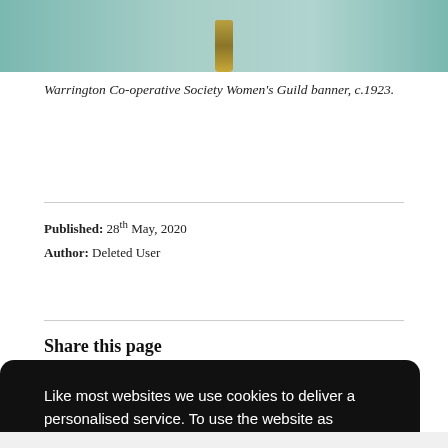[Figure (photo): Top portion of a photograph showing a banner with a tassel, light teal/green background]
Warrington Co-operative Society Women's Guild banner, c.1923.
Published: 28th May, 2020
Author: Deleted User
Share this page
Like most websites we use cookies to deliver a personalised service. To use the website as intended please accept cookies.
Accept Cookies